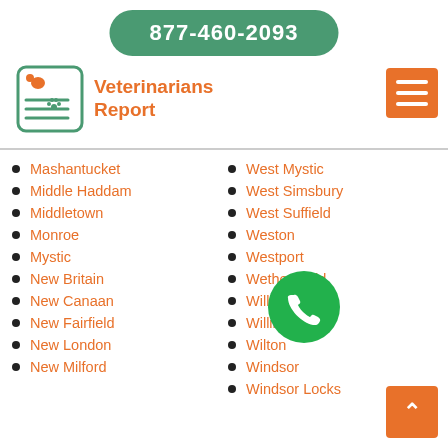877-460-2093
[Figure (logo): Veterinarians Report logo with pet icons and document]
Veterinarians Report
Mashantucket
Middle Haddam
Middletown
Monroe
Mystic
New Britain
New Canaan
New Fairfield
New London
New Milford
West Mystic
West Simsbury
West Suffield
Weston
Westport
Wethersfield
Willimantic
Willington
Wilton
Windsor
Windsor Locks